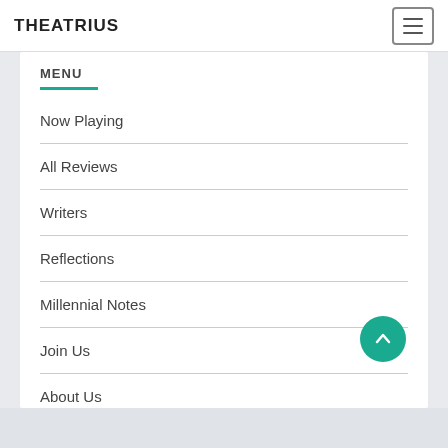THEATRIUS
MENU
Now Playing
All Reviews
Writers
Reflections
Millennial Notes
Join Us
About Us